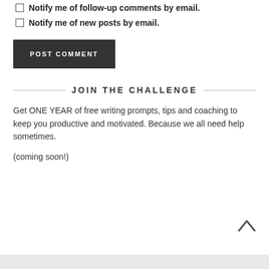Notify me of follow-up comments by email.
Notify me of new posts by email.
POST COMMENT
JOIN THE CHALLENGE
Get ONE YEAR of free writing prompts, tips and coaching to keep you productive and motivated. Because we all need help sometimes.
(coming soon!)